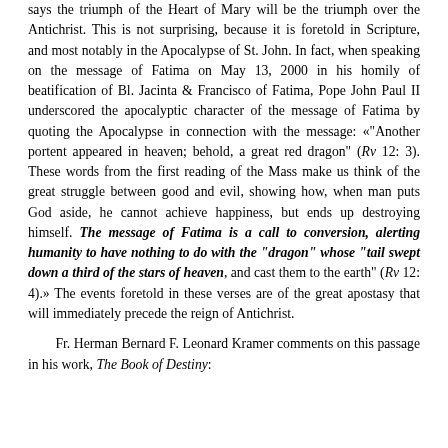says the triumph of the Heart of Mary will be the triumph over the Antichrist. This is not surprising, because it is foretold in Scripture, and most notably in the Apocalypse of St. John. In fact, when speaking on the message of Fatima on May 13, 2000 in his homily of beatification of Bl. Jacinta & Francisco of Fatima, Pope John Paul II underscored the apocalyptic character of the message of Fatima by quoting the Apocalypse in connection with the message: «"Another portent appeared in heaven; behold, a great red dragon" (Rv 12: 3). These words from the first reading of the Mass make us think of the great struggle between good and evil, showing how, when man puts God aside, he cannot achieve happiness, but ends up destroying himself. The message of Fatima is a call to conversion, alerting humanity to have nothing to do with the "dragon" whose "tail swept down a third of the stars of heaven, and cast them to the earth" (Rv 12: 4).» The events foretold in these verses are of the great apostasy that will immediately precede the reign of Antichrist.
Fr. Herman Bernard F. Leonard Kramer comments on this passage in his work, The Book of Destiny: